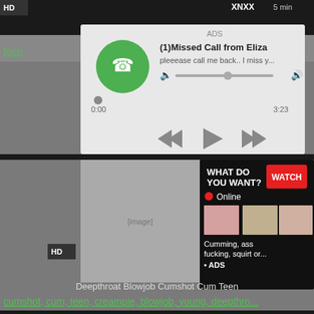[Figure (screenshot): Screenshot of a pornographic website showing multiple overlapping ad popups. Top area shows a dark video thumbnail with HD label. An audio ad popup shows a fake missed call notification from 'Eliza' with a green phone icon, text '(1)Missed Call from Eliza' and 'pleeease call me back.. I miss y...' with audio player controls showing 0:00 and 3:23. Below is a pornographic image with an overlay ad showing 'WHAT DO YOU WANT? WATCH' button, Online indicator, thumbnail images, and text 'Cumming, ass fucking, squirt or... ADS'. Bottom shows text links: 'Deepthroat Blowjob Cumshot Cum Teen' and tag links 'cumshot, cum, teen, creampie, blowjob, young, deepthro...']